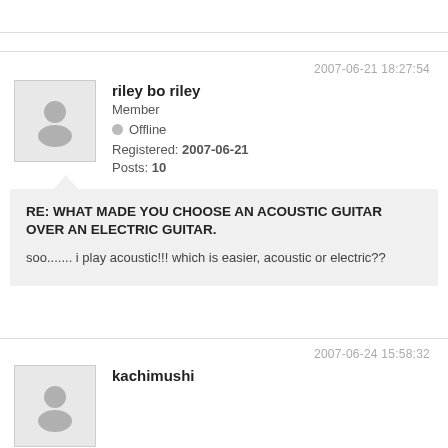2007-06-21 18:27:54
riley bo riley
Member
Offline
Registered: 2007-06-21
Posts: 10
RE: WHAT MADE YOU CHOOSE AN ACOUSTIC GUITAR OVER AN ELECTRIC GUITAR.
soo....... i play acoustic!!! which is easier, acoustic or electric??
2007-06-24 15:58:32
kachimushi